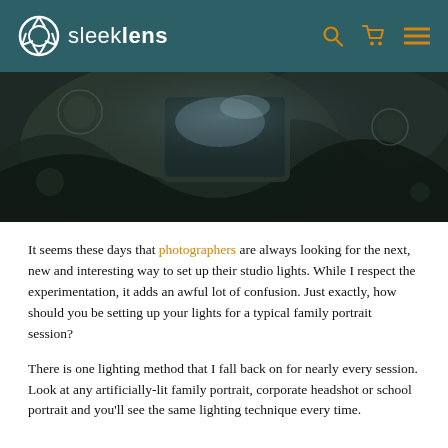sleeklens
[Figure (photo): Close-up dark moody photograph of a smartphone or camera lens resting on fabric/leaves, with bokeh and dark tones]
It seems these days that photographers are always looking for the next, new and interesting way to set up their studio lights. While I respect the experimentation, it adds an awful lot of confusion. Just exactly, how should you be setting up your lights for a typical family portrait session?
There is one lighting method that I fall back on for nearly every session. Look at any artificially-lit family portrait, corporate headshot or school portrait and you’ll see the same lighting technique every time.